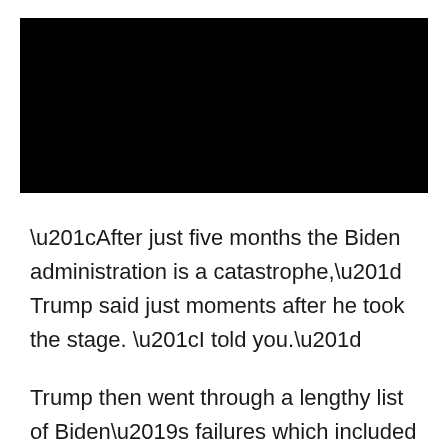[Figure (photo): Black redacted image at the top of the page]
“After just five months the Biden administration is a catastrophe,” Trump said just moments after he took the stage. “I told you.”
Trump then went through a lengthy list of Biden’s failures which included his policies on crime and the enforcement of immigration law.
“Crime is surging, murders are soaring, police